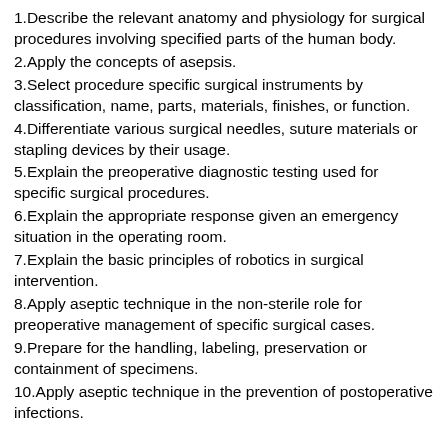1.Describe the relevant anatomy and physiology for surgical procedures involving specified parts of the human body.
2.Apply the concepts of asepsis.
3.Select procedure specific surgical instruments by classification, name, parts, materials, finishes, or function.
4.Differentiate various surgical needles, suture materials or stapling devices by their usage.
5.Explain the preoperative diagnostic testing used for specific surgical procedures.
6.Explain the appropriate response given an emergency situation in the operating room.
7.Explain the basic principles of robotics in surgical intervention.
8.Apply aseptic technique in the non-sterile role for preoperative management of specific surgical cases.
9.Prepare for the handling, labeling, preservation or containment of specimens.
10.Apply aseptic technique in the prevention of postoperative infections.